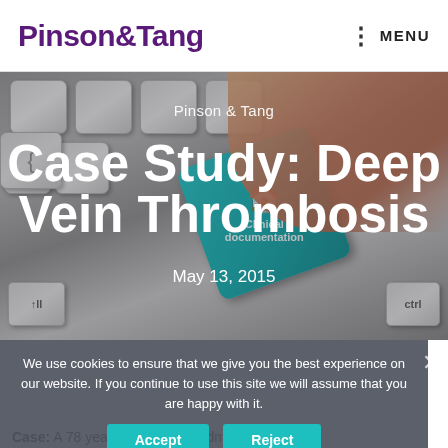Pinson&Tang   MENU
[Figure (photo): Keyboard with a teal 'Clinical documentation' key being pressed by a finger, serving as hero banner background for Case Study: Deep Vein Thrombosis]
Pinson & Tang
Case Study: Deep Vein Thrombosis
May 13, 2015
We use cookies to ensure that we give you the best experience on our website. If you continue to use this site we will assume that you are happy with it.
Accept   Reject
Case: A 78 year old female is admitted to the